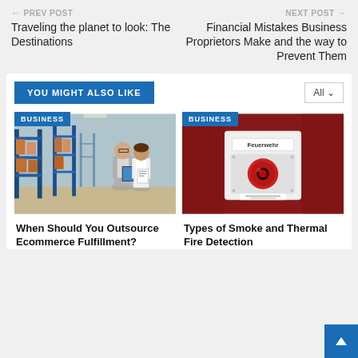← PREV POST
Traveling the planet to look: The Destinations
NEXT POST →
Financial Mistakes Business Proprietors Make and the way to Prevent Them
YOU MIGHT ALSO LIKE
[Figure (photo): Two business people in a warehouse, man in gray jacket holding tablet, woman in white jacket holding papers, blue shelving racks in background]
BUSINESS
When Should You Outsource Ecommerce Fulfillment?
[Figure (photo): Red fire alarm break-glass call point mounted on dark red wall, labeled Feuerwehr]
BUSINESS
Types of Smoke and Thermal Fire Detection